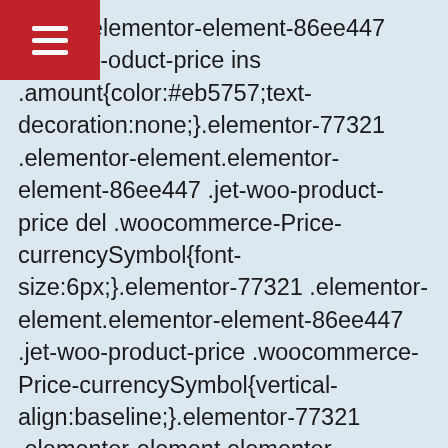ement.elementor-element-86ee447 .jet-woo-oduct-price ins .amount{color:#eb5757;text-decoration:none;}.elementor-77321.elementor-element.elementor-element-86ee447 .jet-woo-product-price del .woocommerce-Price-currencySymbol{font-size:6px;}.elementor-77321 .elementor-element.elementor-element-86ee447 .jet-woo-product-price .woocommerce-Price-currencySymbol{vertical-align:baseline;}.elementor-77321.elementor-element.elementor-element-86ee447 > .elementor-widget-container{padding:0px 15px 0px 15px;}.elementor-77321.elementor-element.elementor-element-049e69d .jet-woo-builder-archive-add-to-cart .button{display:inline-block;font-family:"Lustra", Sans-serif;font-size:18...